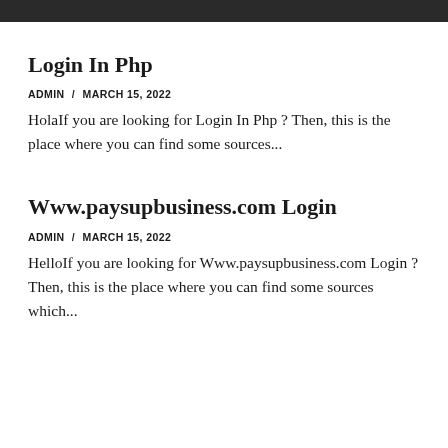Login In Php
ADMIN / MARCH 15, 2022
HolaIf you are looking for Login In Php ? Then, this is the place where you can find some sources...
Www.paysupbusiness.com Login
ADMIN / MARCH 15, 2022
HelloIf you are looking for Www.paysupbusiness.com Login ? Then, this is the place where you can find some sources which...